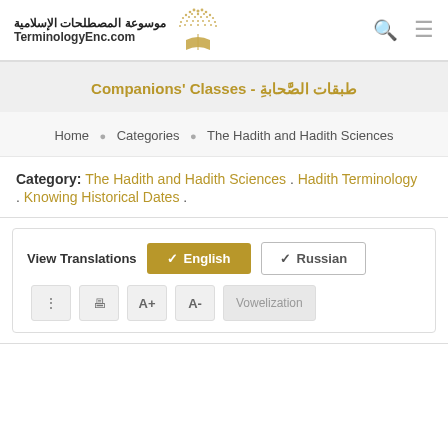موسوعة المطلحات الإسلامية - TerminologyEnc.com
Companions' Classes - طبقات الصَّحابةِ
Home • Categories • The Hadith and Hadith Sciences
Category: The Hadith and Hadith Sciences . Hadith Terminology . Knowing Historical Dates .
View Translations English Russian A+ A- Vowelization